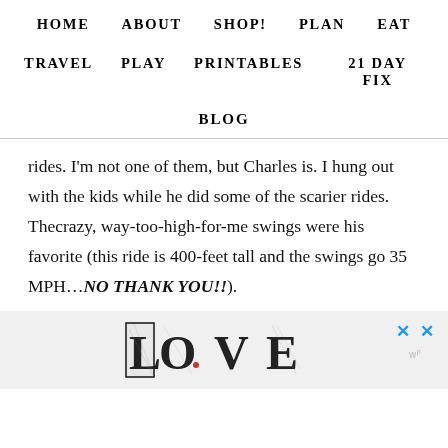HOME   ABOUT   SHOP!   PLAN   EAT   TRAVEL   PLAY   PRINTABLES   21 DAY FIX   BLOG
rides. I'm not one of them, but Charles is. I hung out with the kids while he did some of the scarier rides. Thecrazy, way-too-high-for-me swings were his favorite (this ride is 400-feet tall and the swings go 35 MPH…NO THANK YOU!!).
[Figure (illustration): Decorative 'LOVE' lettering with artistic/zentangle style designs inside each letter, shown as an advertisement banner. Two blue X close buttons visible on the right side.]